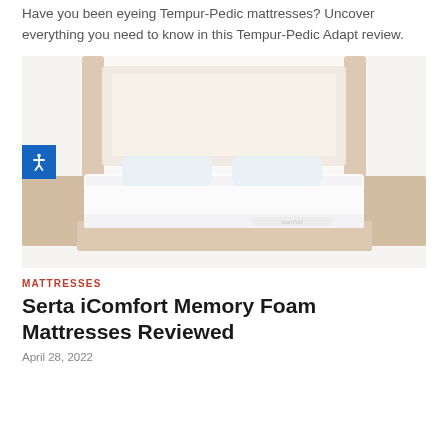Have you been eyeing Tempur-Pedic mattresses? Uncover everything you need to know in this Tempur-Pedic Adapt review.
[Figure (photo): A bed with a white mattress (Serta iComfort) on a wooden frame with headboard, styled bedroom setting, faded/washed-out appearance. The iComfort logo is visible on the mattress front.]
MATTRESSES
Serta iComfort Memory Foam Mattresses Reviewed
April 28, 2022